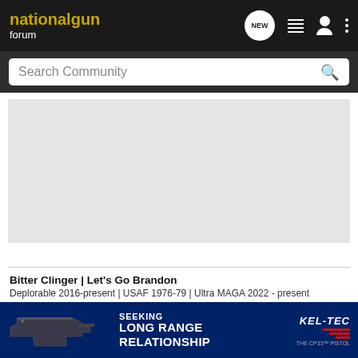nationalgun forum
Search Community
[Figure (screenshot): Gray advertisement placeholder area]
Bitter Clinger | Let's Go Brandon
Deplorable 2016-present | USAF 1976-79 | Ultra MAGA 2022 - present
Wag
[Figure (advertisement): Kel-Tec CP33 pistol advertisement with text SEEKING LONG RANGE RELATIONSHIP]